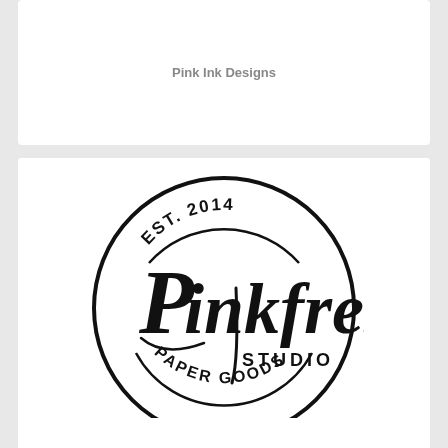Pink Ink Designs
[Figure (logo): Pinkfresh Studio circular logo with script lettering, EST. 2014 at top, STUDIO to the right of script, PAPER GOODS along the bottom curve, all enclosed in a circle]
Pinkfresh Studio